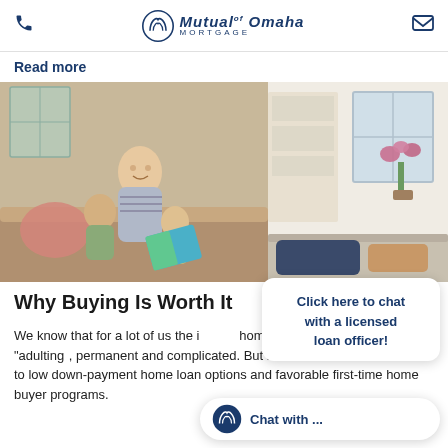Mutual of Omaha Mortgage
Read more
[Figure (photo): A father sitting with two young children reading a colorful book together on a couch. A second image shows a bright, airy living room interior with a window seat and orchid plant.]
Why Buying Is Worth It
We know that for a lot of us the idea of homeownership feels like “adulting”, permanent and complicated. But it doesn’t have to be, thanks to low down-payment home loan options and favorable first-time home buyer programs.
Click here to chat with a licensed loan officer!
Chat with ...